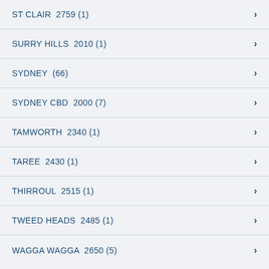ST CLAIR  2759 (1)
SURRY HILLS  2010 (1)
SYDNEY  (66)
SYDNEY CBD  2000 (7)
TAMWORTH  2340 (1)
TAREE  2430 (1)
THIRROUL  2515 (1)
TWEED HEADS  2485 (1)
WAGGA WAGGA  2650 (5)